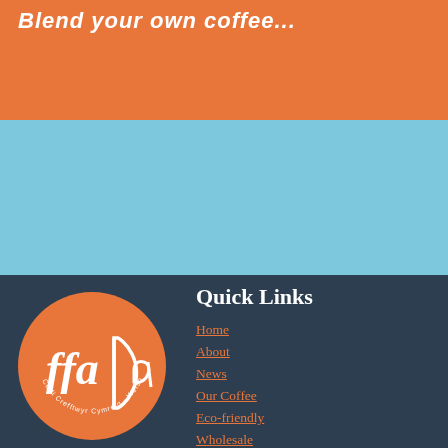Blend your own coffee...
[Figure (logo): ffaDa logo — orange circle with stylized 'ffa' and 'Da' lettering, with circular text reading 'Coffi Crefftwyr Cymreig · Welsh Artisan Coffee']
Quick Links
Home
About
News
Our Coffee
Eco-friendly
Wholesale
Stockist
FAQ
Delivery & Returns
Privacy